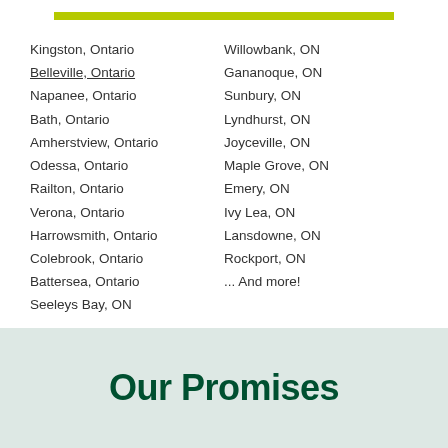Kingston, Ontario
Belleville, Ontario
Napanee, Ontario
Bath, Ontario
Amherstview, Ontario
Odessa, Ontario
Railton, Ontario
Verona, Ontario
Harrowsmith, Ontario
Colebrook, Ontario
Battersea, Ontario
Seeleys Bay, ON
Willowbank, ON
Gananoque, ON
Sunbury, ON
Lyndhurst, ON
Joyceville, ON
Maple Grove, ON
Emery, ON
Ivy Lea, ON
Lansdowne, ON
Rockport, ON
... And more!
Our Promises